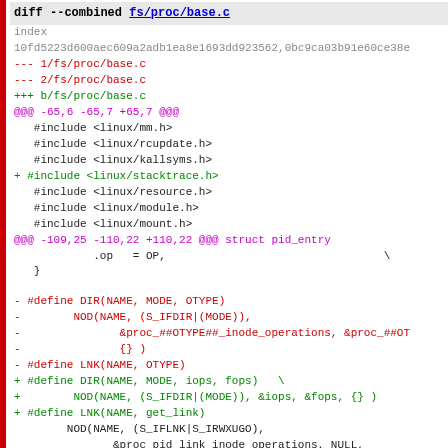diff --combined fs/proc/base.c
index
10fd5223d600aec609a2adb1ea8e1693dd923562,0bc9ca03b91e60ce38e
--- 1/fs/proc/base.c
--- 2/fs/proc/base.c
+++ b/fs/proc/base.c
@@@ -65,6 -65,7 +65,7 @@@
    #include <linux/mm.h>
    #include <linux/rcupdate.h>
    #include <linux/kallsyms.h>
+  #include <linux/stacktrace.h>
    #include <linux/resource.h>
    #include <linux/module.h>
    #include <linux/mount.h>
@@@ -109,25 -110,22 +110,22 @@@ struct pid_entry
             .op   = OP,                                  \
    }

-  #define DIR(NAME, MODE, OTYPE)
-          NOD(NAME, (S_IFDIR|(MODE)),
-                  &proc_##OTYPE##_inode_operations, &proc_##OT
-                  {} )
-  #define LNK(NAME, OTYPE)
+  #define DIR(NAME, MODE, iops, fops)   \
+          NOD(NAME, (S_IFDIR|(MODE)), &iops, &fops, {} )
+  #define LNK(NAME, get_link)
          NOD(NAME, (S_IFLNK|S_IRWXUGO),
                  &proc_pid_link_inode_operations, NULL,
-                  { .proc_get_link = &proc_##OTYPE##_link } )